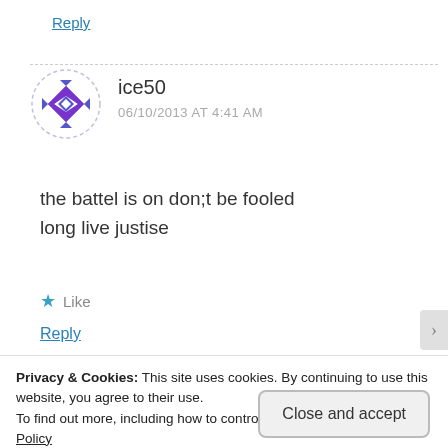Reply
[Figure (illustration): Circular avatar icon with purple/blue geometric snowflake/diamond pattern on white background with dashed circle border]
ice50
06/10/2013 AT 4:41 AM
the battel is on don;t be fooled
long live justise
★ Like
Reply
Privacy & Cookies: This site uses cookies. By continuing to use this website, you agree to their use.
To find out more, including how to control cookies, see here: Cookie Policy
Close and accept